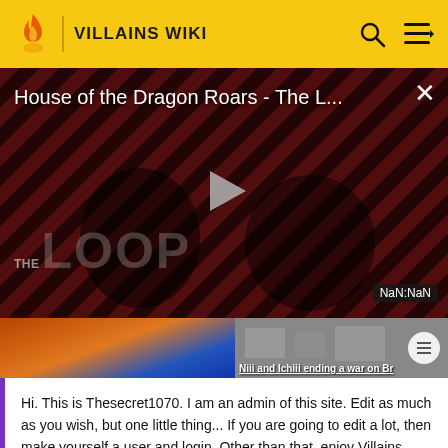VILLAINS WIKI
[Figure (screenshot): Video player showing 'House of the Dragon Roars - The L...' with play button, THE LOOP branding, and NaN:NaN time display]
[Figure (screenshot): Thumbnail strip showing two partial preview images, second captioned 'Niii and Ichiii ending a war on Br']
Hi. This is Thesecret1070. I am an admin of this site. Edit as much as you wish, but one little thing... If you are going to edit a lot, then make yourself a user and login. Other than that, enjoy Villains Wiki!!!